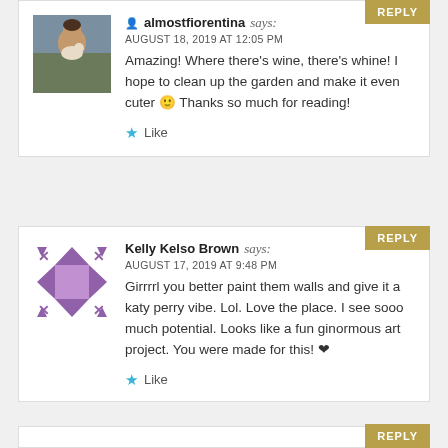REPLY
[Figure (photo): Profile photo of almostfiorentina - woman holding a dog outdoors]
almostfiorentina says:
AUGUST 18, 2019 AT 12:05 PM
Amazing! Where there's wine, there's whine! I hope to clean up the garden and make it even cuter 🙂 Thanks so much for reading!
Like
REPLY
[Figure (illustration): Purple decorative avatar placeholder with fleur-de-lis cross pattern]
Kelly Kelso Brown says:
AUGUST 17, 2019 AT 9:48 PM
Girrrrl you better paint them walls and give it a katy perry vibe. Lol. Love the place. I see sooo much potential. Looks like a fun ginormous art project. You were made for this! ❤
Like